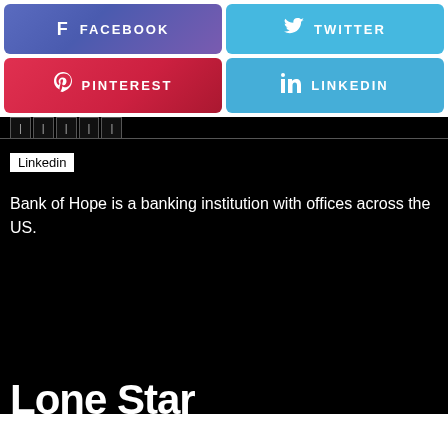[Figure (screenshot): Social media share buttons: Facebook (purple-blue gradient), Twitter (light blue), Pinterest (red gradient), LinkedIn (blue)]
Linkedin
Bank of Hope is a banking institution with offices across the US.
[Figure (screenshot): Black section with partial text 'Lone Star' visible at bottom]